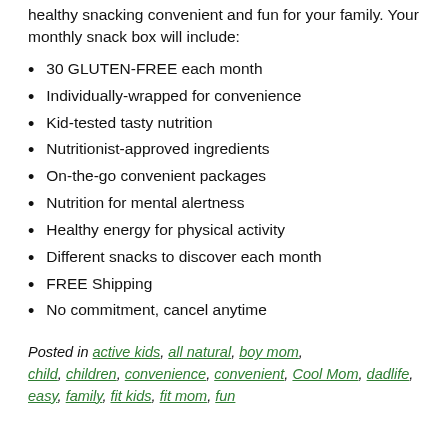healthy snacking convenient and fun for your family. Your monthly snack box will include:
30 GLUTEN-FREE each month
Individually-wrapped for convenience
Kid-tested tasty nutrition
Nutritionist-approved ingredients
On-the-go convenient packages
Nutrition for mental alertness
Healthy energy for physical activity
Different snacks to discover each month
FREE Shipping
No commitment, cancel anytime
Posted in active kids, all natural, boy mom, child, children, convenience, convenient, Cool Mom, dadlife, easy, family, fit kids, fit mom, fun